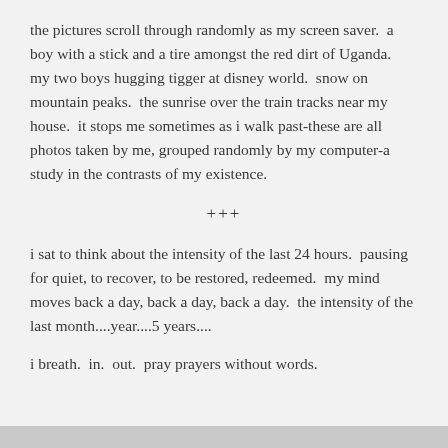the pictures scroll through randomly as my screen saver.  a boy with a stick and a tire amongst the red dirt of Uganda.  my two boys hugging tigger at disney world.  snow on mountain peaks.  the sunrise over the train tracks near my house.  it stops me sometimes as i walk past-these are all photos taken by me, grouped randomly by my computer-a study in the contrasts of my existence.
+++
i sat to think about the intensity of the last 24 hours.  pausing for quiet, to recover, to be restored, redeemed.  my mind moves back a day, back a day, back a day.  the intensity of the last month....year....5 years....
i breath.  in.  out.  pray prayers without words.